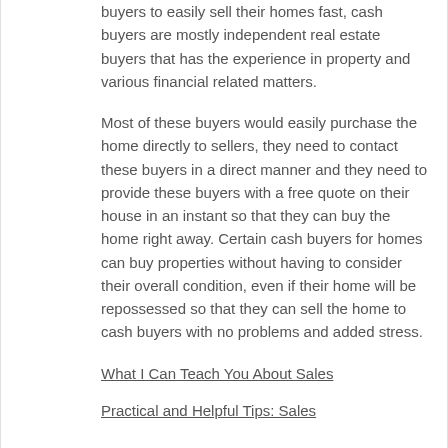buyers to easily sell their homes fast, cash buyers are mostly independent real estate buyers that has the experience in property and various financial related matters.
Most of these buyers would easily purchase the home directly to sellers, they need to contact these buyers in a direct manner and they need to provide these buyers with a free quote on their house in an instant so that they can buy the home right away. Certain cash buyers for homes can buy properties without having to consider their overall condition, even if their home will be repossessed so that they can sell the home to cash buyers with no problems and added stress.
What I Can Teach You About Sales
Practical and Helpful Tips: Sales